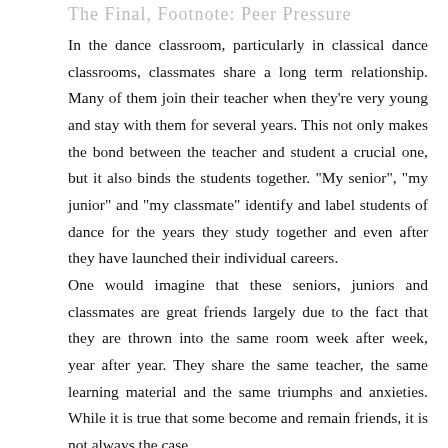The Final, Footnote: Peer Pressure
In the dance classroom, particularly in classical dance classrooms, classmates share a long term relationship. Many of them join their teacher when they're very young and stay with them for several years. This not only makes the bond between the teacher and student a crucial one, but it also binds the students together. "My senior", "my junior" and "my classmate" identify and label students of dance for the years they study together and even after they have launched their individual careers.
One would imagine that these seniors, juniors and classmates are great friends largely due to the fact that they are thrown into the same room week after week, year after year. They share the same teacher, the same learning material and the same triumphs and anxieties. While it is true that some become and remain friends, it is not always the case.
In the competitive world of dance, classmates do not always look out for each other. There are times when they all compete for the same